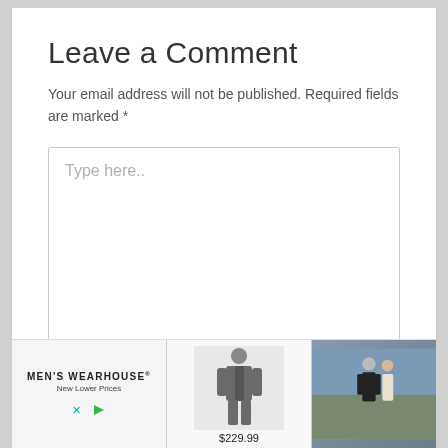Leave a Comment
Your email address will not be published. Required fields are marked *
Type here..
[Figure (other): Men's Wearhouse advertisement banner showing brand logo with 'New Lower Prices' tagline, a man in a gray suit priced at $229.99, and a couple in formal wear outdoors]